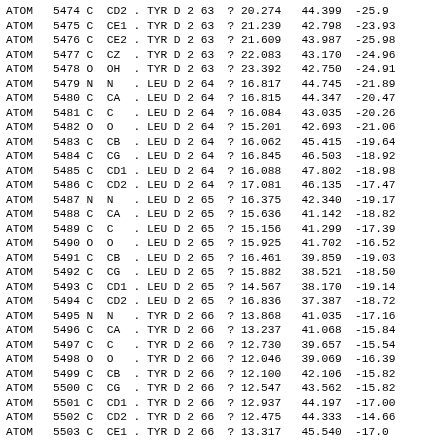| Record | Serial | Type | Name | Alt | Res | Chain | Model | SeqNum | ? | X | Y | Z |
| --- | --- | --- | --- | --- | --- | --- | --- | --- | --- | --- | --- | --- |
| ATOM | 5474 | C | CD2 | . | TYR | D | 2 | 63 | ? | 20.274 | 44.399 | -25.9 |
| ATOM | 5475 | C | CE1 | . | TYR | D | 2 | 63 | ? | 21.239 | 42.798 | -23.93 |
| ATOM | 5476 | C | CE2 | . | TYR | D | 2 | 63 | ? | 21.609 | 43.987 | -25.98 |
| ATOM | 5477 | C | CZ | . | TYR | D | 2 | 63 | ? | 22.083 | 43.170 | -24.96 |
| ATOM | 5478 | O | OH | . | TYR | D | 2 | 63 | ? | 23.392 | 42.750 | -24.91 |
| ATOM | 5479 | N | N | . | LEU | D | 2 | 64 | ? | 16.817 | 44.745 | -21.89 |
| ATOM | 5480 | C | CA | . | LEU | D | 2 | 64 | ? | 16.815 | 44.347 | -20.47 |
| ATOM | 5481 | C | C | . | LEU | D | 2 | 64 | ? | 16.084 | 43.035 | -20.26 |
| ATOM | 5482 | O | O | . | LEU | D | 2 | 64 | ? | 15.201 | 42.693 | -21.06 |
| ATOM | 5483 | C | CB | . | LEU | D | 2 | 64 | ? | 16.062 | 45.415 | -19.64 |
| ATOM | 5484 | C | CG | . | LEU | D | 2 | 64 | ? | 16.845 | 46.503 | -18.92 |
| ATOM | 5485 | C | CD1 | . | LEU | D | 2 | 64 | ? | 16.088 | 47.802 | -18.98 |
| ATOM | 5486 | C | CD2 | . | LEU | D | 2 | 64 | ? | 17.081 | 46.135 | -17.47 |
| ATOM | 5487 | N | N | . | LEU | D | 2 | 65 | ? | 16.375 | 42.340 | -19.17 |
| ATOM | 5488 | C | CA | . | LEU | D | 2 | 65 | ? | 15.636 | 41.142 | -18.82 |
| ATOM | 5489 | C | C | . | LEU | D | 2 | 65 | ? | 15.156 | 41.299 | -17.39 |
| ATOM | 5490 | O | O | . | LEU | D | 2 | 65 | ? | 15.925 | 41.702 | -16.52 |
| ATOM | 5491 | C | CB | . | LEU | D | 2 | 65 | ? | 16.461 | 39.859 | -19.03 |
| ATOM | 5492 | C | CG | . | LEU | D | 2 | 65 | ? | 15.882 | 38.521 | -18.50 |
| ATOM | 5493 | C | CD1 | . | LEU | D | 2 | 65 | ? | 14.567 | 38.170 | -19.14 |
| ATOM | 5494 | C | CD2 | . | LEU | D | 2 | 65 | ? | 16.836 | 37.387 | -18.72 |
| ATOM | 5495 | N | N | . | TYR | D | 2 | 66 | ? | 13.868 | 41.035 | -17.16 |
| ATOM | 5496 | C | CA | . | TYR | D | 2 | 66 | ? | 13.237 | 41.068 | -15.84 |
| ATOM | 5497 | C | C | . | TYR | D | 2 | 66 | ? | 12.730 | 39.657 | -15.54 |
| ATOM | 5498 | O | O | . | TYR | D | 2 | 66 | ? | 12.046 | 39.069 | -16.39 |
| ATOM | 5499 | C | CB | . | TYR | D | 2 | 66 | ? | 12.100 | 42.106 | -15.82 |
| ATOM | 5500 | C | CG | . | TYR | D | 2 | 66 | ? | 12.547 | 43.562 | -15.82 |
| ATOM | 5501 | C | CD1 | . | TYR | D | 2 | 66 | ? | 12.937 | 44.197 | -17.00 |
| ATOM | 5502 | C | CD2 | . | TYR | D | 2 | 66 | ? | 12.475 | 44.333 | -14.66 |
| ATOM | 5503 | C | CE1 | . | TYR | D | 2 | 66 | ? | 13.317 | 45.540 | -17.0 |